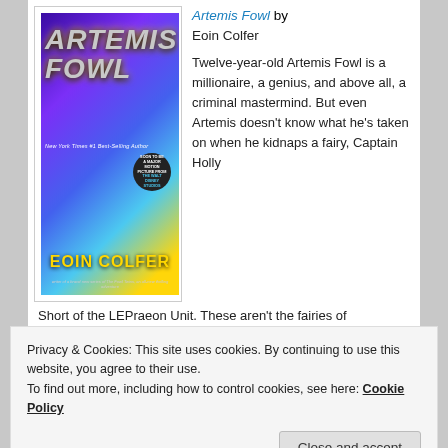[Figure (illustration): Book cover of Artemis Fowl by Eoin Colfer showing a young boy with yellow-tinted glasses in a dark suit holding a glowing object, with colorful psychedelic background and another figure running. Text reads 'ARTEMIS FOWL', 'New York Times #1 Best-Selling Author', 'EOIN COLFER'. Badge reads 'SOON TO BE A MAJOR MOTION PICTURE FROM THE WALT DISNEY STUDIOS'.]
Artemis Fowl by Eoin Colfer
Twelve-year-old Artemis Fowl is a millionaire, a genius, and above all, a criminal mastermind. But even Artemis doesn’t know what he’s taken on when he kidnaps a fairy, Captain Holly
Short of the LEPraeon Unit. These aren’t the fairies of
Privacy & Cookies: This site uses cookies. By continuing to use this website, you agree to their use.
To find out more, including how to control cookies, see here: Cookie Policy
Close and accept